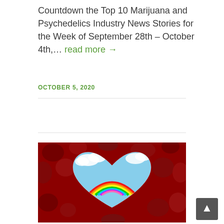Countdown the Top 10 Marijuana and Psychedelics Industry News Stories for the Week of September 28th – October 4th,… read more →
OCTOBER 5, 2020
[Figure (photo): A heart-shaped cutout revealing a blue sky with clouds and a rainbow, surrounded by dark red fractal/floral textured background]